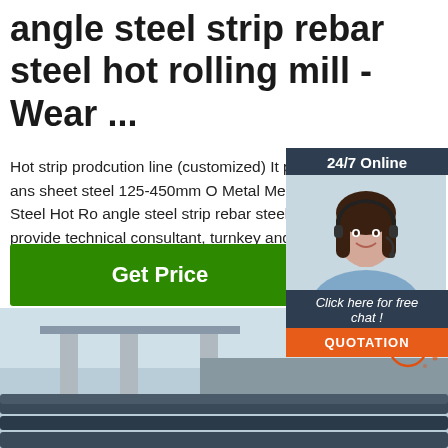angle steel strip rebar steel hot rolling mill - Wear ...
Hot strip prodcution line (customized) It produce strip steel ans sheet steel 125-450mm O Metal Metallurgy Machinery Steel Hot Ro angle steel strip rebar steel hot rolling m we provide technical consultant, turnkey and one-stop service for steel plant of de rebar, wire rod, angle bar, channel beam
[Figure (infographic): 24/7 Online chat widget with woman in headset photo, 'Click here for free chat!' text, and orange QUOTATION button]
[Figure (photo): Industrial steel rebars in foreground with a bridge/infrastructure in the background, steel scrap pile visible, TOP badge in lower right corner]